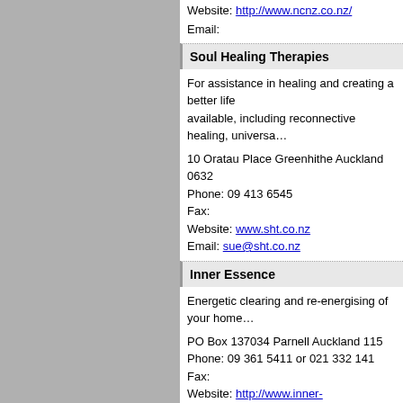Website: http://www.ncnz.co.nz/
Email:
Soul Healing Therapies
For assistance in healing and creating a better life available, including reconnective healing, universa...
10 Oratau Place Greenhithe Auckland 0632
Phone: 09 413 6545
Fax:
Website: www.sht.co.nz
Email: sue@sht.co.nz
Inner Essence
Energetic clearing and re-energising of your home...
PO Box 137034 Parnell Auckland 115
Phone: 09 361 5411 or 021 332 141
Fax:
Website: http://www.inner-essence.co.nz/
Email: jill.williamson@inneressence.co.nz
Self-Help Online
Books • Forums • Articles • Stories • Poems • Vide... relationships, parenting, abuse, anger, addiction, ... problems.